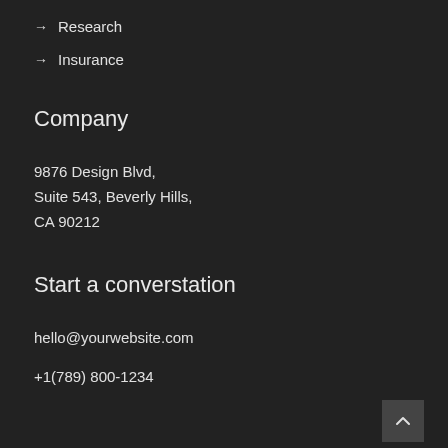→ Research
→ Insurance
Company
9876 Design Blvd,
Suite 543, Beverly Hills,
CA 90212
Start a converstation
hello@yourwebsite.com
+1(789) 800-1234